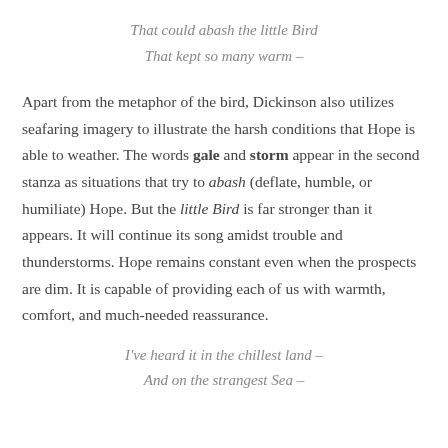That could abash the little Bird
That kept so many warm –
Apart from the metaphor of the bird, Dickinson also utilizes seafaring imagery to illustrate the harsh conditions that Hope is able to weather. The words gale and storm appear in the second stanza as situations that try to abash (deflate, humble, or humiliate) Hope. But the little Bird is far stronger than it appears. It will continue its song amidst trouble and thunderstorms. Hope remains constant even when the prospects are dim. It is capable of providing each of us with warmth, comfort, and much-needed reassurance.
I've heard it in the chillest land –
And on the strangest Sea –